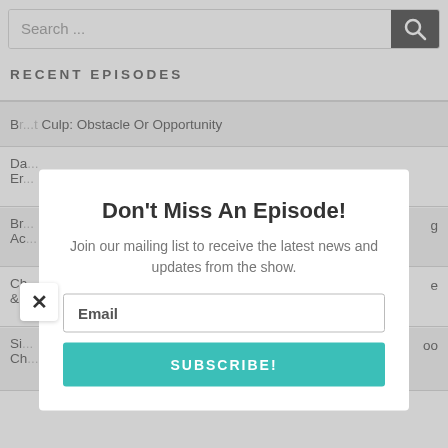[Figure (screenshot): Search bar with text 'Search ...' and a dark search button with magnifying glass icon]
RECENT EPISODES
Br..t Culp: Obstacle Or Opportunity
Da...
Er...
Br...
Ac...
Ch...
&...
Si...
Ch...
[Figure (screenshot): Modal popup overlay with close (x) button, title 'Don't Miss An Episode!', subtitle 'Join our mailing list to receive the latest news and updates from the show.', Email input field, and SUBSCRIBE! button in teal]